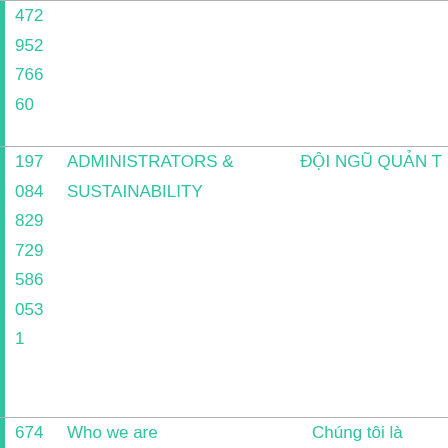| Number | Label EN | Label VN |
| --- | --- | --- |
| 472 |  |  |
| 952 |  |  |
| 766 |  |  |
| 60 |  |  |
| 197 084 | ADMINISTRATORS &amp; SUSTAINABILITY | ĐỘI NGŨ QUẢN T... |
| 829 |  |  |
| 729 |  |  |
| 586 |  |  |
| 053 |  |  |
| 1 |  |  |
| 674 | Who we are | Chúng tôi là |
| 183 |  |  |
| 814 |  |  |
| 933 |  |  |
| 299 |  |  |
| 881 |  |  |
| 8 |  |  |